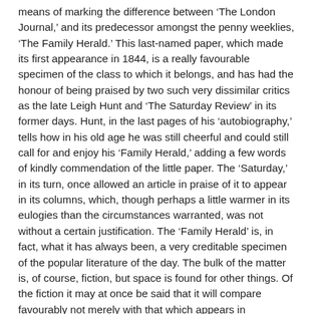means of marking the difference between ‘The London Journal,’ and its predecessor amongst the penny weeklies, ‘The Family Herald.’ This last-named paper, which made its first appearance in 1844, is a really favourable specimen of the class to which it belongs, and has had the honour of being praised by two such very dissimilar critics as the late Leigh Hunt and ‘The Saturday Review’ in its former days. Hunt, in the last pages of his ‘autobiography,’ tells how in his old age he was still cheerful and could still call for and enjoy his ‘Family Herald,’ adding a few words of kindly commendation of the little paper. The ‘Saturday,’ in its turn, once allowed an article in praise of it to appear in its columns, which, though perhaps a little warmer in its eulogies than the circumstances warranted, was not without a certain justification. The ‘Family Herald’ is, in fact, what it has always been, a very creditable specimen of the popular literature of the day. The bulk of the matter is, of course, fiction, but space is found for other things. Of the fiction it may at once be said that it will compare favourably not merely with that which appears in magazines of its own class, but with the stories which adorn the pages of magazines of much greater pretension. Several well known